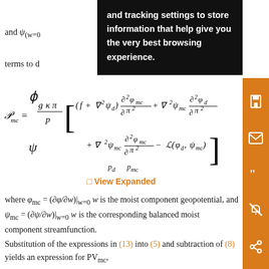and ψ_(w=0) … -order terms to …
[Figure (screenshot): Tooltip/cookie consent overlay with black background reading: 'and tracking settings to store information that help give you the very best browsing experience.']
View Expanded
where φ_mc = (∂φ/∂w)|_{w=0} w is the moist component geopotential, and ψ_mc = (∂ψ/∂w)|_{w=0} w is the corresponding balanced moist component streamfunction. Substitution of the expressions in (13) into (5) and subtraction of (8) yields an expression for PV_mc,